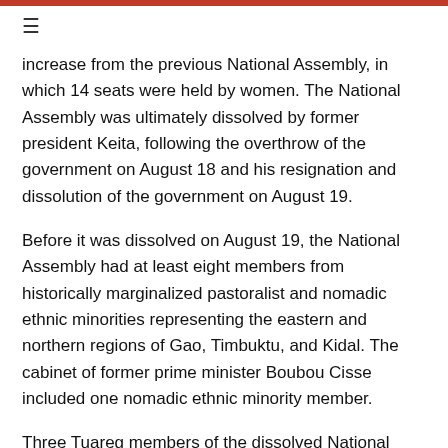≡
increase from the previous National Assembly, in which 14 seats were held by women. The National Assembly was ultimately dissolved by former president Keita, following the overthrow of the government on August 18 and his resignation and dissolution of the government on August 19.
Before it was dissolved on August 19, the National Assembly had at least eight members from historically marginalized pastoralist and nomadic ethnic minorities representing the eastern and northern regions of Gao, Timbuktu, and Kidal. The cabinet of former prime minister Boubou Cisse included one nomadic ethnic minority member.
Three Tuareg members of the dissolved National Assembly